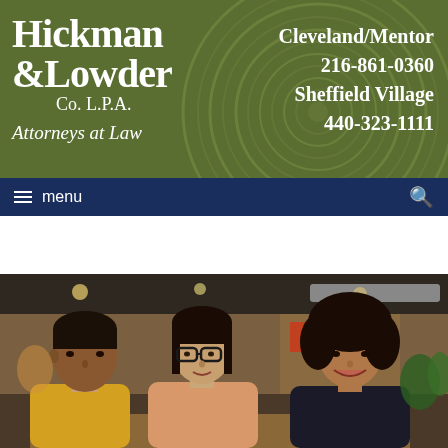[Figure (logo): Hickman & Lowder Co. L.P.A. Attorneys at Law law firm logo on olive green background with decorative tree ring circle]
Cleveland/Mentor 216-861-0360 Sheffield Village 440-323-1111
menu
[Figure (photo): Three people (a young South Asian man in yellow sweater, a woman with glasses in peach top, and a woman with curly hair smiling) having a meeting or consultation in a warm indoor setting]